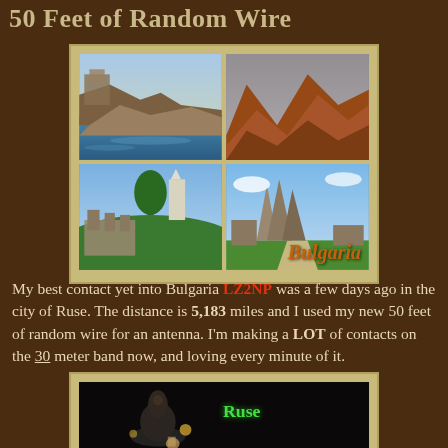50 Feet of Random Wire
[Figure (photo): Collage of four Bulgaria landscape/landmark photos with 'Bulgaria' text overlay on tan background]
My best contact yet into Bulgaria LZ2NP was a few days ago in the city of Ruse. The distance is 5,183 miles and I used my new 50 feet of random wire for an antenna. I'm making a LOT of contacts on the 30 meter band now, and loving every minute of it.
[Figure (photo): Night photo of Ruse city landmark/building with 'Ruse' text label in green]